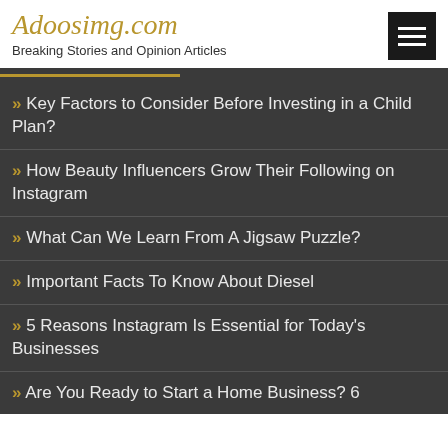Adoosimg.com
Breaking Stories and Opinion Articles
» Key Factors to Consider Before Investing in a Child Plan?
» How Beauty Influencers Grow Their Following on Instagram
» What Can We Learn From A Jigsaw Puzzle?
» Important Facts To Know About Diesel
» 5 Reasons Instagram Is Essential for Today's Businesses
» Are You Ready to Start a Home Business? 6